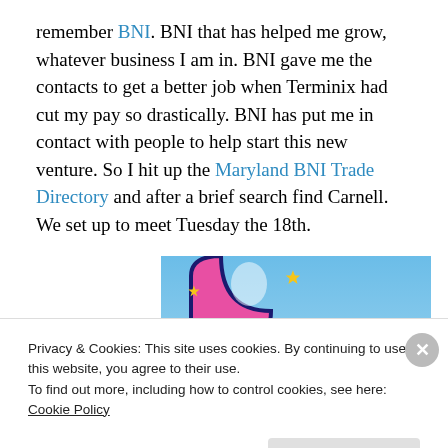remember BNI. BNI that has helped me grow, whatever business I am in. BNI gave me the contacts to get a better job when Terminix had cut my pay so drastically. BNI has put me in contact with people to help start this new venture. So I hit up the Maryland BNI Trade Directory and after a brief search find Carnell. We set up to meet Tuesday the 18th.
[Figure (illustration): Partial view of a colorful illustration with a pink cartoon shape, yellow sparkles, and a blue sky background with white cloud at bottom.]
Privacy & Cookies: This site uses cookies. By continuing to use this website, you agree to their use. To find out more, including how to control cookies, see here: Cookie Policy
Close and accept